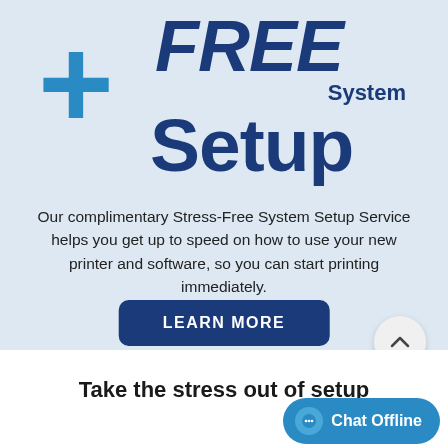+ FREE System Setup
Our complimentary Stress-Free System Setup Service helps you get up to speed on how to use your new printer and software, so you can start printing immediately.
[Figure (other): Dark blue rounded rectangle button with white bold text reading LEARN MORE]
[Figure (other): Light gray circle with upward-pointing chevron arrow icon]
Take the stress out of setup
[Figure (other): Blue rounded pill-shaped chat button with speech bubble icon and text Chat Offline]